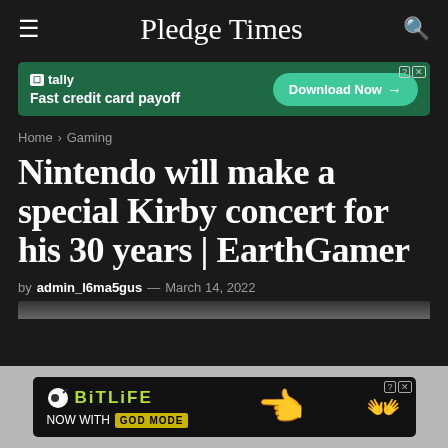Pledge Times
[Figure (screenshot): Tally app advertisement banner with green background showing 'Fast credit card payoff' and 'Download Now' button]
Home > Gaming
Nintendo will make a special Kirby concert for his 30 years | EarthGamer
by admin_l6ma5gus — March 14, 2022
[Figure (screenshot): BitLife advertisement banner with black background showing 'NOW WITH GOD MODE' promotion and hand pointing emoji]